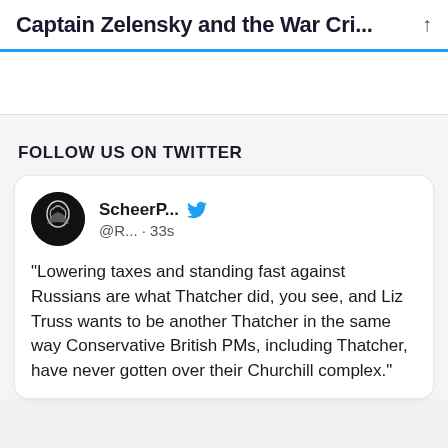Captain Zelensky and the War Cri...
FOLLOW US ON TWITTER
"Lowering taxes and standing fast against Russians are what Thatcher did, you see, and Liz Truss wants to be another Thatcher in the same way Conservative British PMs, including Thatcher, have never gotten over their Churchill complex."